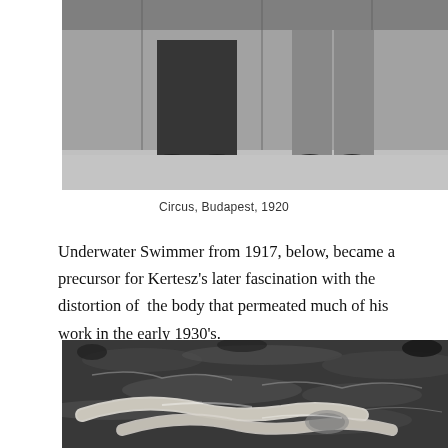[Figure (photo): Black and white photograph showing the lower bodies and feet of two people standing, one in dark clothing and one in lighter trousers, against a wall. Cropped at waist level.]
Circus, Budapest, 1920
Underwater Swimmer from 1917, below, became a precursor for Kertesz's later fascination with the distortion of the body that permeated much of his work in the early 1930's.
[Figure (photo): Black and white photograph of a swimmer underwater, showing the distorted view of arms and body through rippling water surface.]